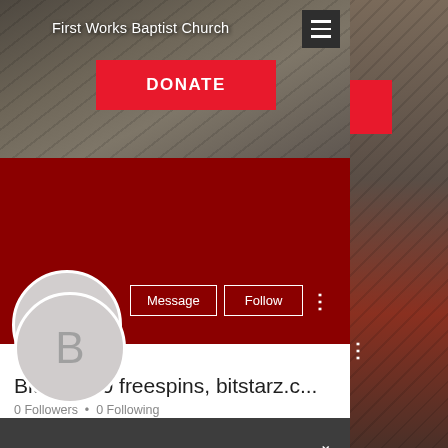First Works Baptist Church
[Figure (screenshot): Website screenshot showing church name header with hamburger menu icon on dark rooftop photo background]
DONATE
[Figure (screenshot): Red profile banner with Message and Follow buttons and a circular avatar with letter B]
Bitstarz 30 freespins, bitstarz.c...
0 Followers • 0 Following
Profile